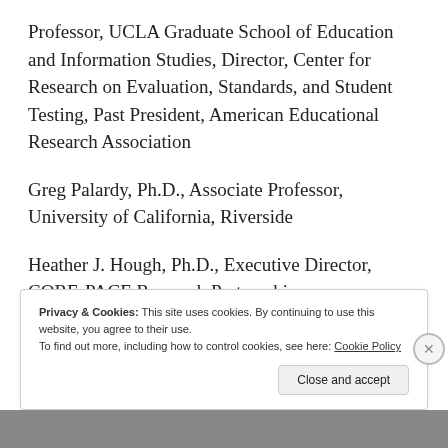Professor, UCLA Graduate School of Education and Information Studies, Director, Center for Research on Evaluation, Standards, and Student Testing, Past President, American Educational Research Association
Greg Palardy, Ph.D., Associate Professor, University of California, Riverside
Heather J. Hough, Ph.D., Executive Director, CORE-PACE Research Partnership
Privacy & Cookies: This site uses cookies. By continuing to use this website, you agree to their use.
To find out more, including how to control cookies, see here: Cookie Policy
Close and accept